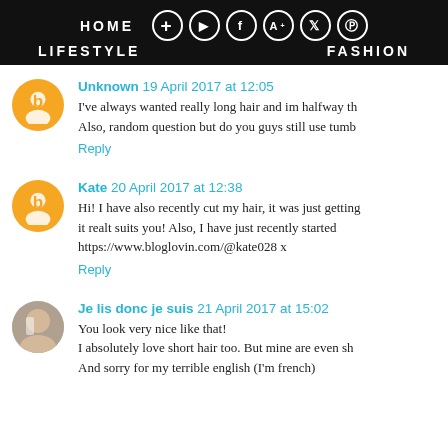HOME  LIFESTYLE  FASHION
Unknown 19 April 2017 at 12:05 — I've always wanted really long hair and im halfway th... Also, random question but do you guys still use tumb... Reply
Kate 20 April 2017 at 12:38 — Hi! I have also recently cut my hair, it was just getting... it realt suits you! Also, I have just recently started... https://www.bloglovin.com/@kate028 x Reply
Je lis donc je suis 21 April 2017 at 15:02 — You look very nice like that! I absolutely love short hair too. But mine are even sh... And sorry for my terrible english (I'm french)